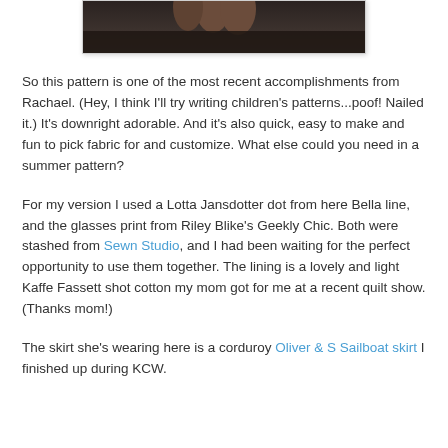[Figure (photo): Partial view of a photo showing a dark background with what appears to be a hand/fingers at the top, cropped at the top of the page]
So this pattern is one of the most recent accomplishments from Rachael. (Hey, I think I'll try writing children's patterns...poof! Nailed it.) It's downright adorable. And it's also quick, easy to make and fun to pick fabric for and customize. What else could you need in a  summer pattern?
For my version I used a Lotta Jansdotter dot from here Bella line, and the glasses print from Riley Blike's Geekly Chic. Both were stashed from Sewn Studio, and I had been waiting for the perfect opportunity to use them together. The lining is a lovely and light Kaffe Fassett shot cotton my mom got for me at a recent quilt show. (Thanks mom!)
The skirt she's wearing here is a corduroy Oliver & S Sailboat skirt I finished up during KCW.